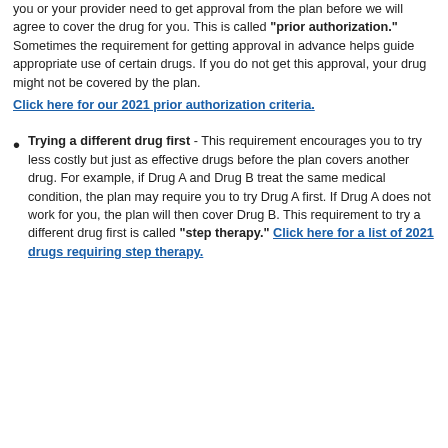you or your provider need to get approval from the plan before we will agree to cover the drug for you. This is called "prior authorization." Sometimes the requirement for getting approval in advance helps guide appropriate use of certain drugs. If you do not get this approval, your drug might not be covered by the plan.
Click here for our 2021 prior authorization criteria.
Trying a different drug first - This requirement encourages you to try less costly but just as effective drugs before the plan covers another drug. For example, if Drug A and Drug B treat the same medical condition, the plan may require you to try Drug A first. If Drug A does not work for you, the plan will then cover Drug B. This requirement to try a different drug first is called "step therapy." Click here for a list of 2021 drugs requiring step therapy.